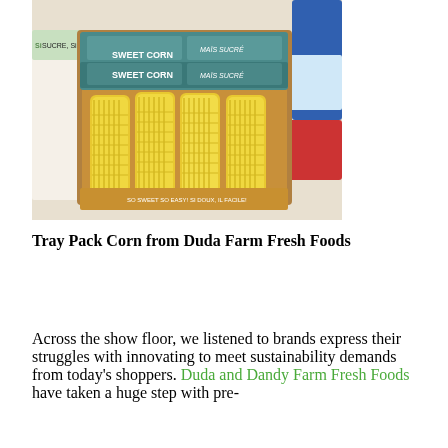[Figure (photo): A tray pack of sweet corn cobs in a cardboard box labeled 'Sweet Corn / Mais Sucre' by Duda Farm Fresh Foods, displayed on a store shelf.]
Tray Pack Corn from Duda Farm Fresh Foods
Across the show floor, we listened to brands express their struggles with innovating to meet sustainability demands from today's shoppers. Duda and Dandy Farm Fresh Foods have taken a huge step with pre-